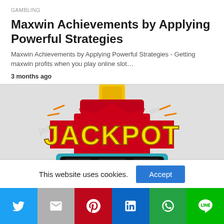GAMBLING
Maxwin Achievements by Applying Powerful Strategies
Maxwin Achievements by Applying Powerful Strategies - Getting maxwin profits when you play online slot…
3 months ago
[Figure (illustration): Jackpot slot machine illustration with bold yellow JACKPOT text on red background and slot machine reels at the bottom]
This website uses cookies.
Accept